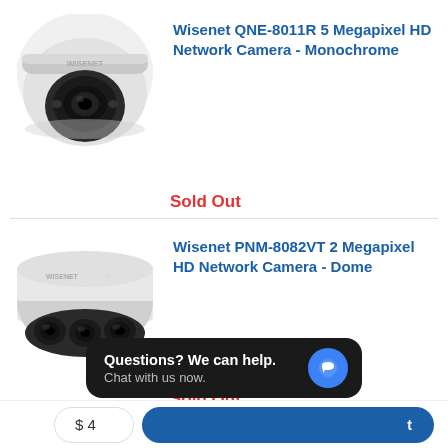[Figure (photo): Wisenet dome security camera (turret style), white/grey color with black lens, viewed from front-slightly-above angle, model QNE-8011R]
Wisenet QNE-8011R 5 Megapixel HD Network Camera - Monochrome
Sold Out
[Figure (photo): Wisenet multi-lens dome security camera (panoramic style), white/grey top with multiple black lenses at bottom, model PNM-8082VT]
Wisenet PNM-8082VT 2 Megapixel HD Network Camera - Dome
Sold Out
Top Rated Products
Questions? We can help. Chat with us now.